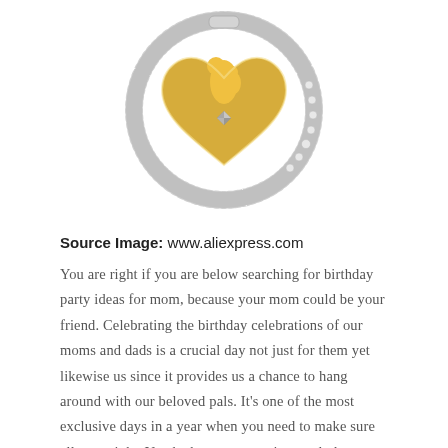[Figure (photo): A silver and gold jewelry pendant featuring a mother and child silhouette inside a heart shape, with a diamond accent, set within a silver circle adorned with crystals.]
Source Image: www.aliexpress.com
You are right if you are below searching for birthday party ideas for mom, because your mom could be your friend. Celebrating the birthday celebrations of our moms and dads is a crucial day not just for them yet likewise us since it provides us a chance to hang around with our beloved pals. It's one of the most exclusive days in a year when you need to make sure all goes right. Yet the huge concern is exactly how to organize a birthday party suggestion for mom? That's why I have